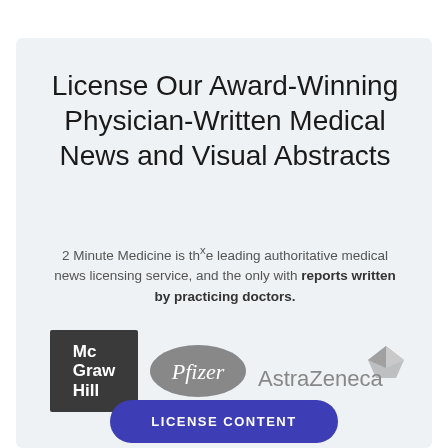License Our Award-Winning Physician-Written Medical News and Visual Abstracts
2 Minute Medicine is the leading authoritative medical news licensing service, and the only with reports written by practicing doctors.
[Figure (logo): Three company logos: McGraw Hill (dark square with white text), Pfizer (gray oval), AstraZeneca (gray text with diamond logo)]
LICENSE CONTENT